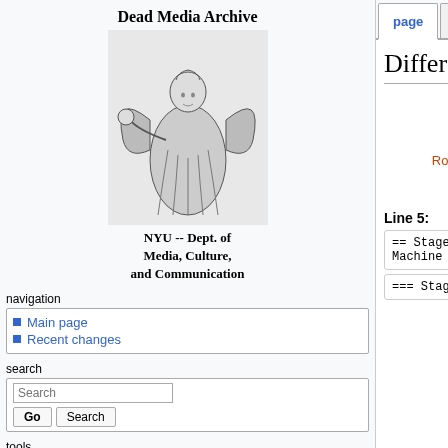Dead Media Archive
[Figure (illustration): Sketch of an angel figure holding a globe, black and white illustration]
NYU -- Dept. of Media, Culture, and Communication
navigation
Main page
Recent changes
search
tools
page | discussion | view source | history | log in
Difference between revisions of "Grand Guignol"
| Revision as of 13:34, 12 April 2010 | Revision as of 13:35, 12 April 2010 |
| --- | --- |
| Rooney.meg (Talk | contribs) | Rooney.meg (Talk | contribs) |
| ← Older edit | (→Stageness)
Newer edit → |
| Line 5: | Line 5: |
| --- | --- |
| == Stageness and the Horror Machine == | == Stageness and the Horror Machine == |
| === Stageness === | === Stageness === |
|  | [[Image:gg003.jpg|t |